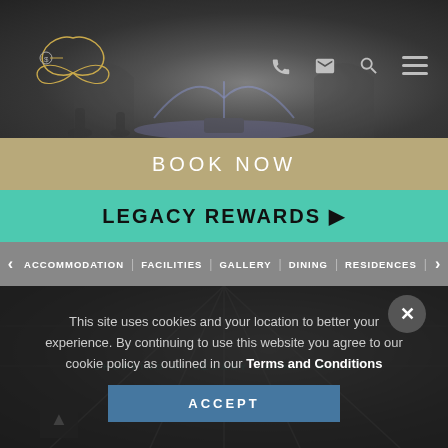[Figure (screenshot): Hotel website header with dark background showing a fountain scene, logo on left, phone/mail/search/menu icons on right]
BOOK NOW
LEGACY REWARDS ▶
ACCOMMODATION | FACILITIES | GALLERY | DINING | RESIDENCES |
[Figure (photo): Shopping at Legacy Corner Mall interior photo with glass ceiling]
This site uses cookies and your location to better your experience. By continuing to use this website you agree to our cookie policy as outlined in our Terms and Conditions
ACCEPT